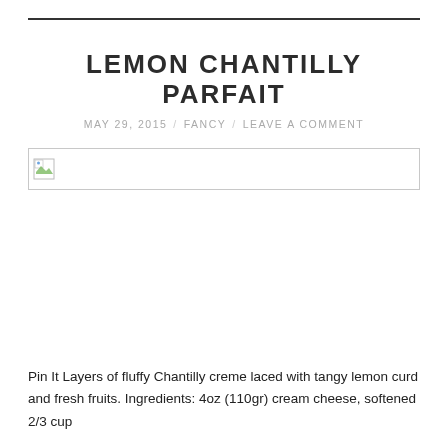LEMON CHANTILLY PARFAIT
MAY 29, 2015 / FANCY / LEAVE A COMMENT
[Figure (photo): Broken/missing image placeholder for lemon chantilly parfait photo]
Pin It Layers of fluffy Chantilly creme laced with tangy lemon curd and fresh fruits. Ingredients: 4oz (110gr) cream cheese, softened 2/3 cup (Mention appears to be cut off)